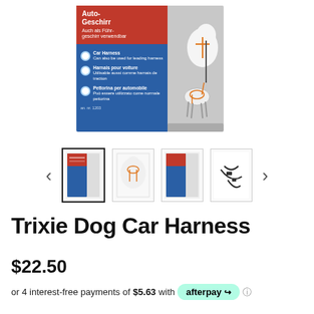[Figure (photo): Trixie Dog Car Harness product box showing a dog wearing an orange harness attached to a seatbelt, with multilingual text including Auto-Geschirr in German, Car Harness in English, Harnais pour voiture in French, and Pettorina per automobile in Italian]
[Figure (photo): Carousel of four product thumbnail images: first (selected/active) showing the product box front, second showing a white dog wearing the harness, third showing the product box again, fourth showing the harness straps/buckles alone. Navigation arrows on left and right.]
Trixie Dog Car Harness
$22.50
or 4 interest-free payments of $5.63 with afterpay ⓘ